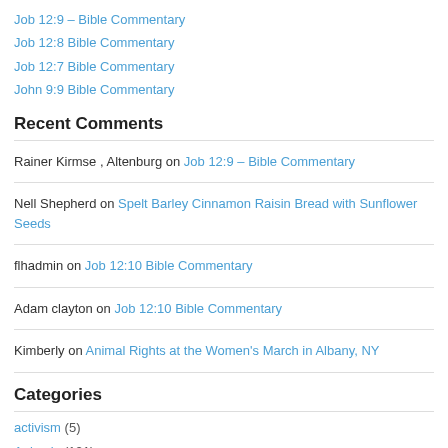Job 12:9 – Bible Commentary
Job 12:8 Bible Commentary
Job 12:7 Bible Commentary
John 9:9 Bible Commentary
Recent Comments
Rainer Kirmse , Altenburg on Job 12:9 – Bible Commentary
Nell Shepherd on Spelt Barley Cinnamon Raisin Bread with Sunflower Seeds
flhadmin on Job 12:10 Bible Commentary
Adam clayton on Job 12:10 Bible Commentary
Kimberly on Animal Rights at the Women's March in Albany, NY
Categories
activism (5)
Animals (121)
Institutionalized Animal Cruelty (46)